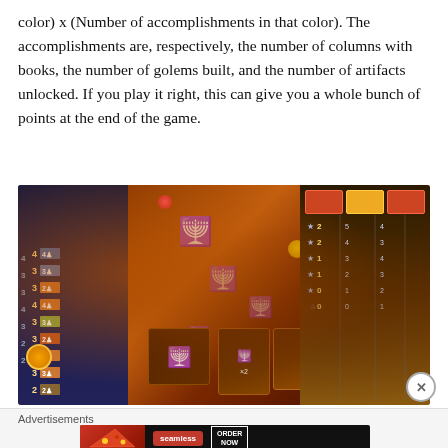color) x (Number of accomplishments in that color). The accomplishments are, respectively, the number of columns with books, the number of golems built, and the number of artifacts unlocked. If you play it right, this can give you a whole bunch of points at the end of the game.
[Figure (photo): A board game scene showing a game board with multiple cards, tiles, tokens, and game pieces arranged on a dark background. The board features orange/warm colored cards with symbols resembling menorahs, numbers in rows on the left side panel, and various colored tiles and tokens.]
Advertisements
[Figure (screenshot): Advertisement banner showing a Seamless food delivery ad with pizza image on the left, 'seamless' logo in red, and 'ORDER NOW' button on the right against a dark background.]